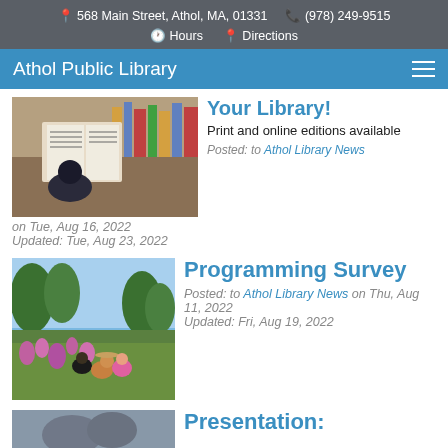568 Main Street, Athol, MA, 01331  (978) 249-9515  Hours  Directions
Athol Public Library
[Figure (photo): Person reading a newspaper at a library desk with books around]
Your Library! Print and online editions available
Posted: to Athol Library News on Tue, Aug 16, 2022 Updated: Tue, Aug 23, 2022
[Figure (photo): Group of people outdoors in a field with wildflowers and trees]
Programming Survey
Posted: to Athol Library News on Thu, Aug 11, 2022 Updated: Fri, Aug 19, 2022
[Figure (photo): Partial image at bottom, beginning of Presentation post]
Presentation: